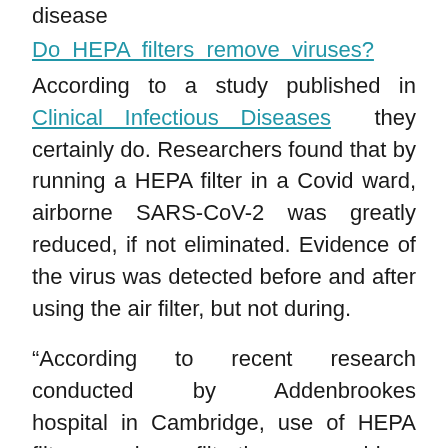disease
Do HEPA filters remove viruses?
According to a study published in Clinical Infectious Diseases they certainly do. Researchers found that by running a HEPA filter in a Covid ward, airborne SARS-CoV-2 was greatly reduced, if not eliminated. Evidence of the virus was detected before and after using the air filter, but not during.
“According to recent research conducted by Addenbrookes hospital in Cambridge, use of HEPA filter air filtration machines removed almost all traces of airborne SARS-CoV-2 on the Covid